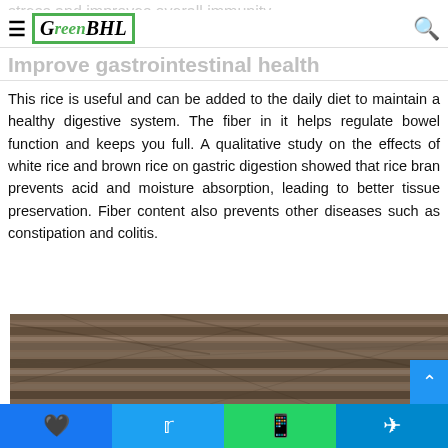stress and improves overall immunity
GreenBHL logo with hamburger and search
Improve gastrointestinal health
This rice is useful and can be added to the daily diet to maintain a healthy digestive system. The fiber in it helps regulate bowel function and keeps you full. A qualitative study on the effects of white rice and brown rice on gastric digestion showed that rice bran prevents acid and moisture absorption, leading to better tissue preservation. Fiber content also prevents other diseases such as constipation and colitis.
[Figure (photo): Close-up photo of brown rice or rice bran texture, showing woody/grainy surface in brown/grey tones]